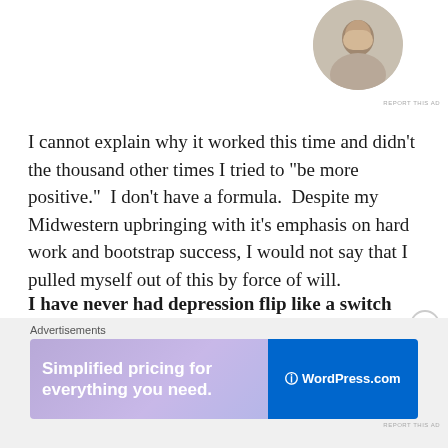[Figure (photo): Circular avatar photo of a person at top right corner]
REPORT THIS AD
I cannot explain why it worked this time and didn’t the thousand other times I tried to “be more positive.”  I don’t have a formula.  Despite my Midwestern upbringing with it’s emphasis on hard work and bootstrap success, I would not say that I pulled myself out of this by force of will.
I have never had depression flip like a switch before.  In the past, climbing out of it was slow and difficult, a trail you blaze uphill in a Midwestern heat wave.
Advertisements
[Figure (screenshot): WordPress.com advertisement banner: Simplified pricing for everything you need.]
REPORT THIS AD